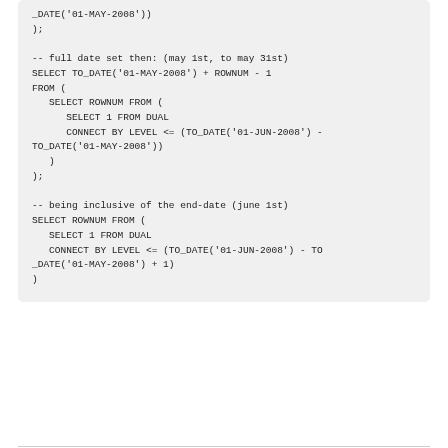_DATE('01-MAY-2008'))
);

-- full date set then: (may 1st, to may 31st)
SELECT TO_DATE('01-MAY-2008') + ROWNUM - 1
FROM (
   SELECT ROWNUM FROM (
      SELECT 1 FROM DUAL
      CONNECT BY LEVEL <= (TO_DATE('01-JUN-2008') -
TO_DATE('01-MAY-2008'))
   )
);

-- being inclusive of the end-date (june 1st)
SELECT ROWNUM FROM (
   SELECT 1 FROM DUAL
   CONNECT BY LEVEL <= (TO_DATE('01-JUN-2008') - TO
_DATE('01-MAY-2008') + 1)
)